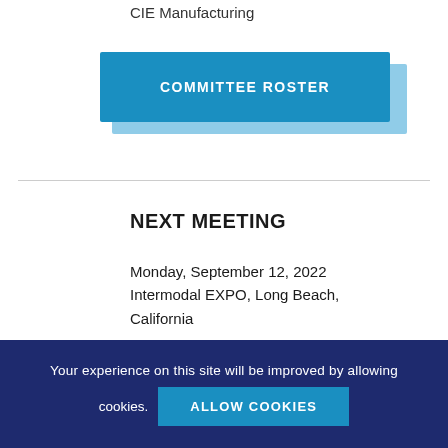CIE Manufacturing
COMMITTEE ROSTER
NEXT MEETING
Monday, September 12, 2022
Intermodal EXPO, Long Beach, California
Your experience on this site will be improved by allowing cookies.
ALLOW COOKIES